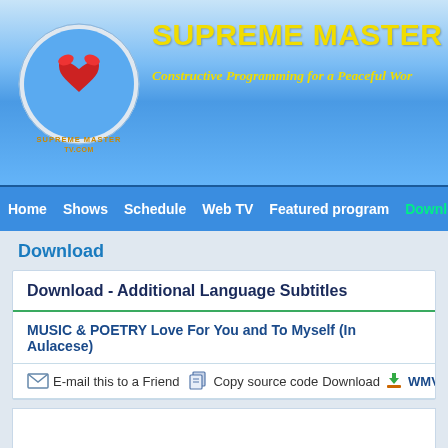SUPREME MASTER TELEVISION - Constructive Programming for a Peaceful World
[Figure (logo): Supreme Master TV circular logo with heart and dove motif]
Home  Shows  Schedule  Web TV  Featured program  Download  Li...
Download
Download - Additional Language Subtitles
MUSIC & POETRY Love For You and To Myself (In Aulacese)
E-mail this to a Friend  Copy source code  Download  WMV